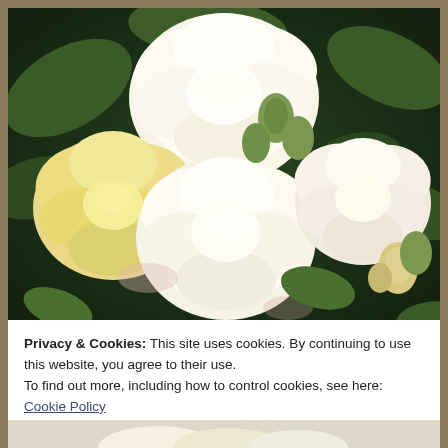[Figure (photo): Close-up photograph of white and cream/yellow roses with green buds against a dark green leafy background]
Privacy & Cookies: This site uses cookies. By continuing to use this website, you agree to their use.
To find out more, including how to control cookies, see here:
Cookie Policy
Close and accept